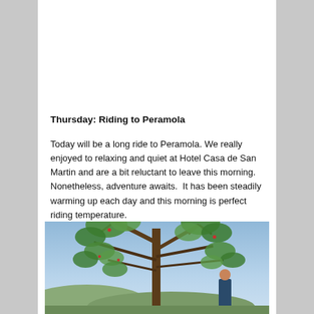Thursday: Riding to Peramola
Today will be a long ride to Peramola. We really enjoyed to relaxing and quiet at Hotel Casa de San Martin and are a bit reluctant to leave this morning.  Nonetheless, adventure awaits.  It has been steadily warming up each day and this morning is perfect riding temperature.
[Figure (photo): Outdoor photo showing a large tree with green foliage against a blue sky, with hills in the background and a person standing near the tree trunk on the right side.]